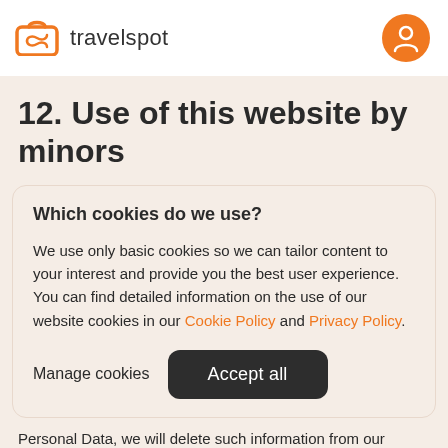[Figure (logo): Travelspot logo with orange bag icon and wordmark 'travelspot', plus orange circular user avatar icon on the right]
12. Use of this website by minors
Which cookies do we use?
We use only basic cookies so we can tailor content to your interest and provide you the best user experience. You can find detailed information on the use of our website cookies in our Cookie Policy and Privacy Policy.
Manage cookies   Accept all
Personal Data, we will delete such information from our